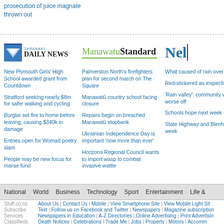prosecution of juice magnate thrown out
[Figure (logo): Taranaki Daily News newspaper logo]
New Plymouth Girls' High School awarded grant from Countdown
Stratford seeking nearly $8m for safer walking and cycling
Burglar set fire to home before leaving, causing $340k in damage
Entries open for Womad poetry slam
People may be new focus for marae fund
[Figure (logo): Manawatu Standard newspaper logo]
Palmerston North's firefighters plan for second march on The Square
Manawatū country school facing closure
Repairs begin on breached Manawatū stopbank
Ukrainian Independence Day is important 'now more than ever'
Horizons Regional Council wants to import wasp to combat invasive wattle
[Figure (logo): Nel... (partial newspaper logo)]
What caused of rain over to
Red-stickered as inspections
'Rain valley': community wh worse off
Schools hope next week
State Highway and Blenheim week
National | World | Business | Technology | Sport | Entertainment | Life &
Stuff.co.nz  About Us | Contact Us | Mobile | View Smartphone Site | View Mobile Light Sit  Subscribe  Text | Follow us on Facebook and Twitter | Newspapers | Magazine subscription  Services  Newspapers in Education | A-Z Directories | Online Advertising | Print Advertisin  Classifieds  Death Notices | Celebrations | Trade Me | Jobs | Property | Motors | Accomm  Classifieds  Newspapers  Dominion Post | The Press | Waikato Times | Auckland Now | Sunday New